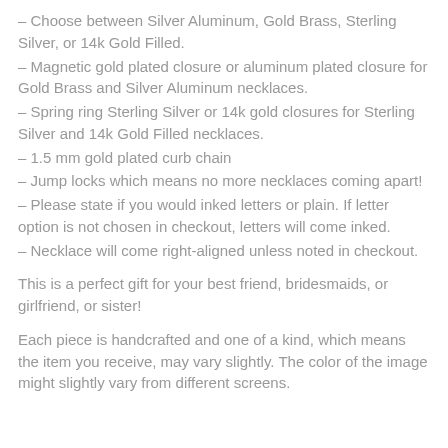– Choose between Silver Aluminum, Gold Brass, Sterling Silver, or 14k Gold Filled.
– Magnetic gold plated closure or aluminum plated closure for Gold Brass and Silver Aluminum necklaces.
– Spring ring Sterling Silver or 14k gold closures for Sterling Silver and 14k Gold Filled necklaces.
– 1.5 mm gold plated curb chain
– Jump locks which means no more necklaces coming apart!
– Please state if you would inked letters or plain. If letter option is not chosen in checkout, letters will come inked.
– Necklace will come right-aligned unless noted in checkout.
This is a perfect gift for your best friend, bridesmaids, or girlfriend, or sister!
Each piece is handcrafted and one of a kind, which means the item you receive, may vary slightly. The color of the image might slightly vary from different screens.